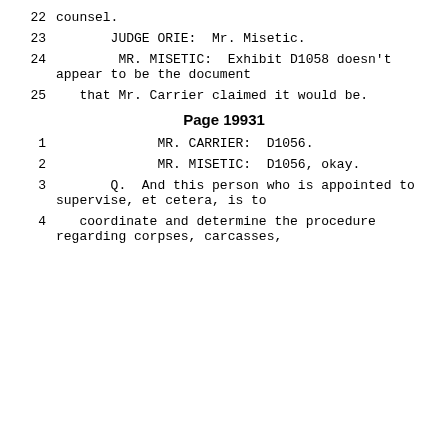22    counsel.
23    JUDGE ORIE:  Mr. Misetic.
24    MR. MISETIC:  Exhibit D1058 doesn't appear to be the document
25    that Mr. Carrier claimed it would be.
Page 19931
1    MR. CARRIER:  D1056.
2    MR. MISETIC:  D1056, okay.
3    Q.  And this person who is appointed to supervise, et cetera, is to
4    coordinate and determine the procedure regarding corpses, carcasses,